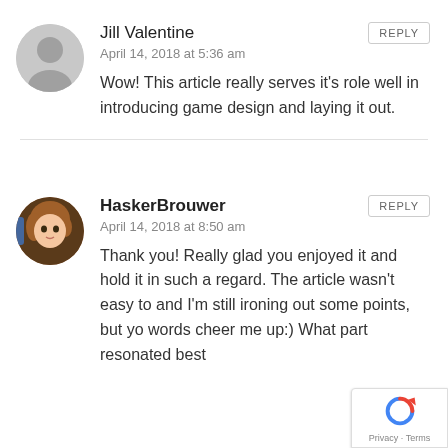Jill Valentine
April 14, 2018 at 5:36 am
Wow! This article really serves it's role well in introducing game design and laying it out.
HaskerBrouwer
April 14, 2018 at 8:50 am
Thank you! Really glad you enjoyed it and hold it in such a regard. The article wasn't easy to and I'm still ironing out some points, but yo words cheer me up:) What part resonated best